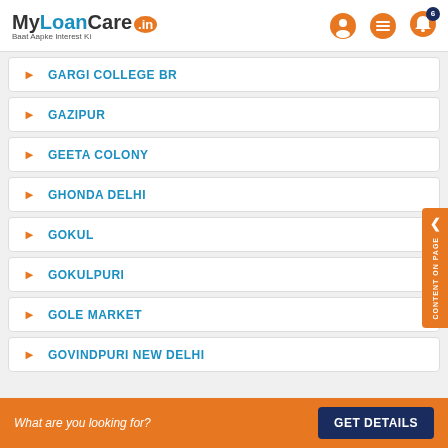MyLoanCare.in - Baat Aapke Interest Ki
GARGI COLLEGE BR
GAZIPUR
GEETA COLONY
GHONDA DELHI
GOKUL
GOKULPURI
GOLE MARKET
GOVINDPURI NEW DELHI
What are you looking for? GET DETAILS